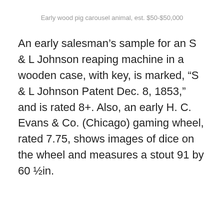Early wood pig carousel animal, est. $50-$50,000
An early salesman’s sample for an S & L Johnson reaping machine in a wooden case, with key, is marked, “S & L Johnson Patent Dec. 8, 1853,” and is rated 8+. Also, an early H. C. Evans & Co. (Chicago) gaming wheel, rated 7.75, shows images of dice on the wheel and measures a stout 91 by 60 ½in.